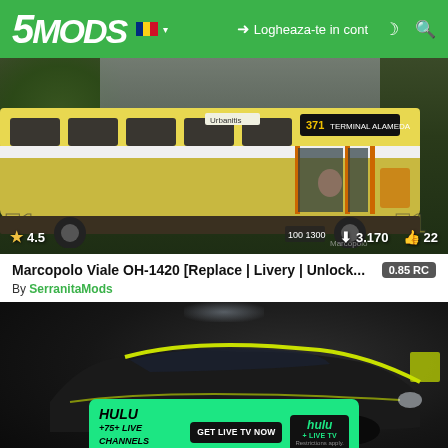5MODS | Logheaza-te in cont
[Figure (screenshot): GTA mod screenshot of a Marcopolo bus (yellow/white, route 71) in a city environment, with rating 4.5 stars, 3,170 downloads, 22 likes]
Marcopolo Viale OH-1420 [Replace | Livery | Unlock... 0.85 RC
By SerranitaMods
[Figure (screenshot): GTA mod screenshot of a dark car with yellow accents in a parking garage, partially obscured by a Hulu advertisement overlay reading: HULU +75+ LIVE CHANNELS +DISNEY+ +ESPN+ | GET LIVE TV NOW | hulu + LIVE TV | Restrictions apply.]